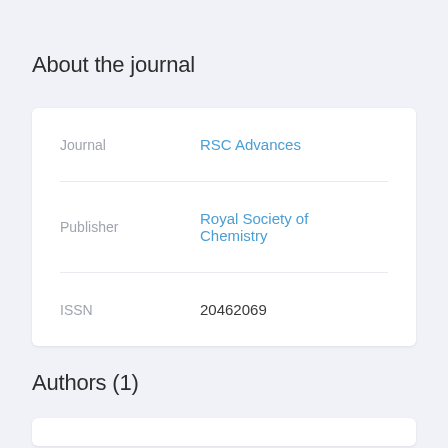About the journal
|  |  |
| --- | --- |
| Journal | RSC Advances |
| Publisher | Royal Society of Chemistry |
| ISSN | 20462069 |
Authors (1)